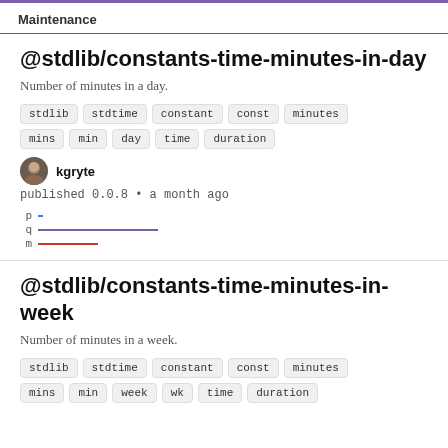Maintenance
@stdlib/constants-time-minutes-in-day
Number of minutes in a day.
stdlib stdtime constant const minutes mins min day time duration
kgryte
published 0.0.8 • a month ago
[Figure (other): Metrics bars: p (short blue), q (medium purple), m (short red)]
@stdlib/constants-time-minutes-in-week
Number of minutes in a week.
stdlib stdtime constant const minutes mins min week wk time duration